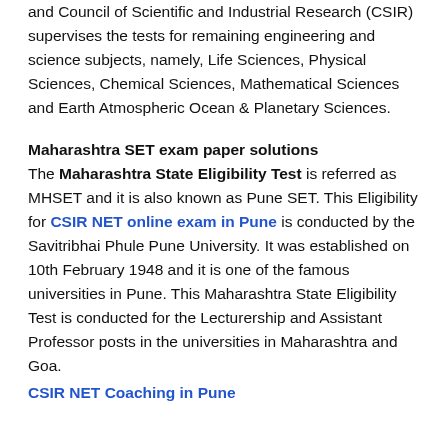and Council of Scientific and Industrial Research (CSIR) supervises the tests for remaining engineering and science subjects, namely, Life Sciences, Physical Sciences, Chemical Sciences, Mathematical Sciences and Earth Atmospheric Ocean & Planetary Sciences.
Maharashtra SET exam paper solutions
The Maharashtra State Eligibility Test is referred as MHSET and it is also known as Pune SET. This Eligibility for CSIR NET online exam in Pune is conducted by the Savitribhai Phule Pune University. It was established on 10th February 1948 and it is one of the famous universities in Pune. This Maharashtra State Eligibility Test is conducted for the Lecturership and Assistant Professor posts in the universities in Maharashtra and Goa.
CSIR NET Coaching in Pune